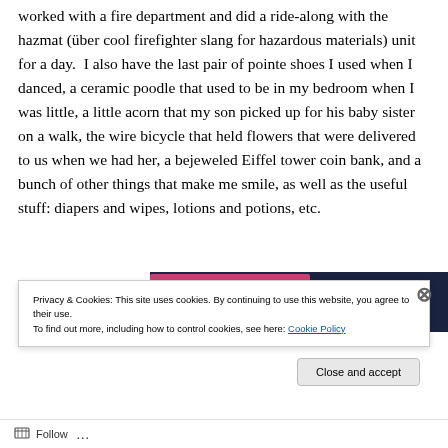worked with a fire department and did a ride-along with the hazmat (über cool firefighter slang for hazardous materials) unit for a day.  I also have the last pair of pointe shoes I used when I danced, a ceramic poodle that used to be in my bedroom when I was little, a little acorn that my son picked up for his baby sister on a walk, the wire bicycle that held flowers that were delivered to us when we had her, a bejeweled Eiffel tower coin bank, and a bunch of other things that make me smile, as well as the useful stuff: diapers and wipes, lotions and potions, etc.
[Figure (screenshot): Partial view of a dark-themed webpage with pink/magenta and navy blue elements visible at the top of the image strip]
Privacy & Cookies: This site uses cookies. By continuing to use this website, you agree to their use.
To find out more, including how to control cookies, see here: Cookie Policy
Close and accept
Follow